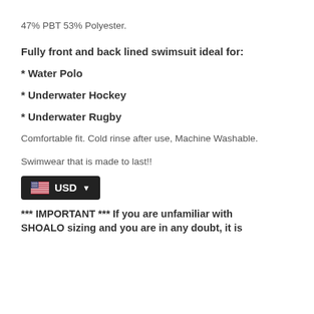47% PBT 53% Polyester.
Fully front and back lined swimsuit ideal for:
* Water Polo
* Underwater Hockey
* Underwater Rugby
Comfortable fit. Cold rinse after use, Machine Washable.
Swimwear that is made to last!!
[Figure (other): USD currency selector badge with US flag icon and dropdown arrow]
*** IMPORTANT *** If you are unfamiliar with SHOALO sizing and you are in any doubt, it is